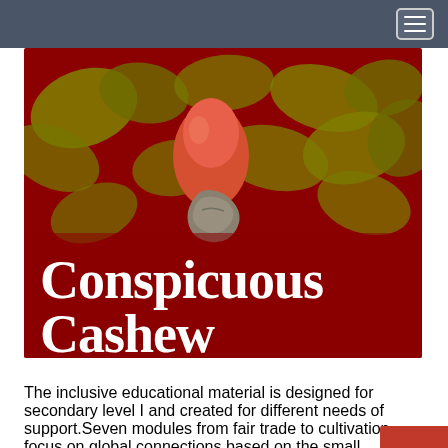[Figure (illustration): A decorative book cover image with a dark red/crimson background featuring golden-yellow cashew leaf/flower motifs. A real cashew fruit (red/orange apple with grey nut) is prominently displayed at the top center. Large white serif bold text reads 'Conspicuous Cashew' overlaid on the lower portion of the image.]
Conspicuous Cashew
The inclusive educational material is designed for secondary level I and created for different needs of support.Seven modules from fair trade to cultivation focus on global connections based on the small delicacy.